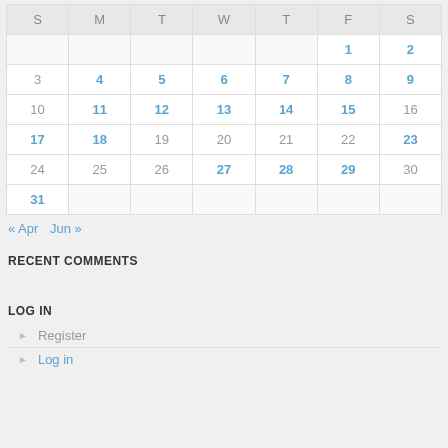| S | M | T | W | T | F | S |
| --- | --- | --- | --- | --- | --- | --- |
|  |  |  |  |  | 1 | 2 |
| 3 | 4 | 5 | 6 | 7 | 8 | 9 |
| 10 | 11 | 12 | 13 | 14 | 15 | 16 |
| 17 | 18 | 19 | 20 | 21 | 22 | 23 |
| 24 | 25 | 26 | 27 | 28 | 29 | 30 |
| 31 |  |  |  |  |  |  |
« Apr   Jun »
RECENT COMMENTS
LOG IN
Register
Log in